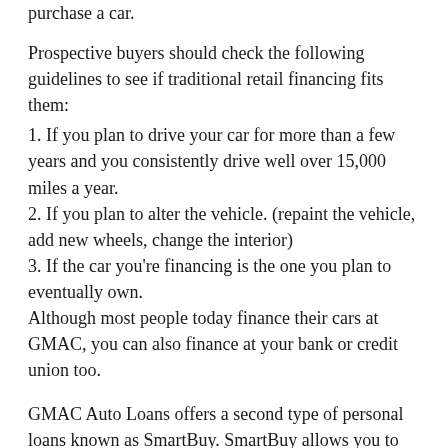purchase a car.
Prospective buyers should check the following guidelines to see if traditional retail financing fits them:
1. If you plan to drive your car for more than a few years and you consistently drive well over 15,000 miles a year.
2. If you plan to alter the vehicle. (repaint the vehicle, add new wheels, change the interior)
3. If the car you're financing is the one you plan to eventually own.
Although most people today finance their cars at GMAC, you can also finance at your bank or credit union too.
GMAC Auto Loans offers a second type of personal loans known as SmartBuy. SmartBuy allows you to own your vehicle with lower monthly payments. This is possible by deferring most payments until the end of your contract, This one lump sum payment at the end is known as the